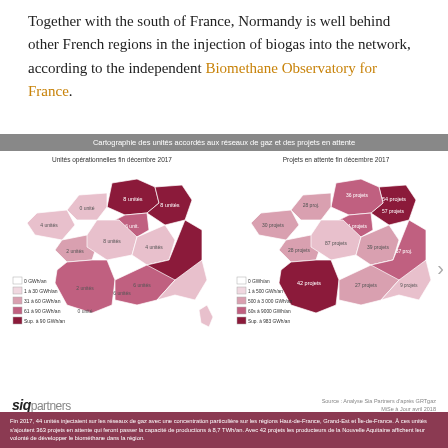Together with the south of France, Normandy is well behind other French regions in the injection of biogas into the network, according to the independent Biomethane Observatory for France.
[Figure (map): Two maps of France showing: (left) Unités opérationnelles fin décembre 2017 – operational biogas injection units by region, colored by GWh/an capacity; (right) Projets en attente fin décembre 2017 – pending projects by region, colored by GWh/an scale. Title bar: Cartographie des unités accordés aux réseaux de gaz et des projets en attente.]
Source : Analyse Sia Partners d'après GRTgaz MiSe à Jour avril 2018
Fin 2017, 44 unités injectaient sur les réseaux de gaz avec une concentration particulière sur les régions Haut-de-France, Grand-Est et Île-de-France. À ces unités s'ajoutent 363 projets en attente qui feront passer la capacité de productions à 8,7 TWh/an. Avec 42 projets les producteurs de la Nouvelle Aquitaine affichent leur volonté de développer le biométhane dans la région.